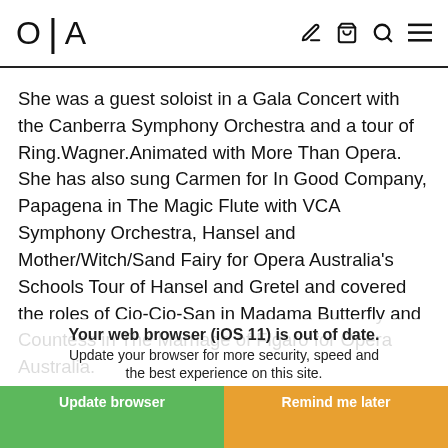O|A
She was a guest soloist in a Gala Concert with the Canberra Symphony Orchestra and a tour of Ring.Wagner.Animated with More Than Opera. She has also sung Carmen for In Good Company, Papagena in The Magic Flute with VCA Symphony Orchestra, Hansel and Mother/Witch/Sand Fairy for Opera Australia's Schools Tour of Hansel and Gretel and covered the roles of Cio-Cio-San in Madama Butterfly and Countess in The Marriage of Figaro for Opera Australia.
Olivia's notable achievements include runner-up in the Herald Sun Aria 2019, and at the 2011 Italian Opera Foundation Awards, winner of the 2011 South Eastern Arts Festival Aria and semi-finalist in the IFAC Australian